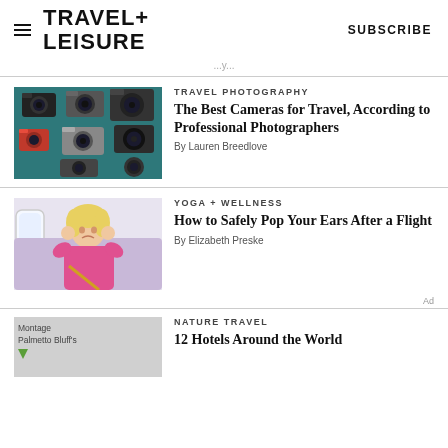TRAVEL+ LEISURE   SUBSCRIBE
...y...
[Figure (photo): Collection of various travel cameras on teal background]
TRAVEL PHOTOGRAPHY
The Best Cameras for Travel, According to Professional Photographers
By Lauren Breedlove
[Figure (photo): Young child on airplane holding ears, wearing pink jacket]
YOGA + WELLNESS
How to Safely Pop Your Ears After a Flight
By Elizabeth Preske
Ad
[Figure (photo): Montage Palmetto Bluff's hotel exterior or grounds]
NATURE TRAVEL
12 Hotels Around the World